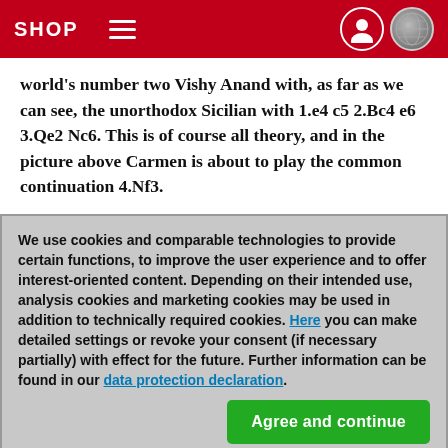SHOP
world's number two Vishy Anand with, as far as we can see, the unorthodox Sicilian with 1.e4 c5 2.Bc4 e6 3.Qe2 Nc6. This is of course all theory, and in the picture above Carmen is about to play the common continuation 4.Nf3.
[Figure (logo): ChessBase logo: checkerboard pattern (black and white squares) on left half, red rounded rectangle on right half]
We use cookies and comparable technologies to provide certain functions, to improve the user experience and to offer interest-oriented content. Depending on their intended use, analysis cookies and marketing cookies may be used in addition to technically required cookies. Here you can make detailed settings or revoke your consent (if necessary partially) with effect for the future. Further information can be found in our data protection declaration.